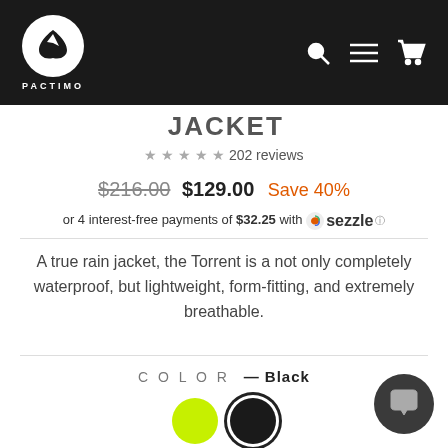PACTIMO navigation header
JACKET (partial)
★★★★★ 202 reviews
$216.00  $129.00  Save 40%
or 4 interest-free payments of $32.25 with Sezzle
A true rain jacket, the Torrent is a not only completely waterproof, but lightweight, form-fitting, and extremely breathable.
COLOR — Black
[Figure (illustration): Two color swatches: lime/yellow-green circle and black circle with border ring]